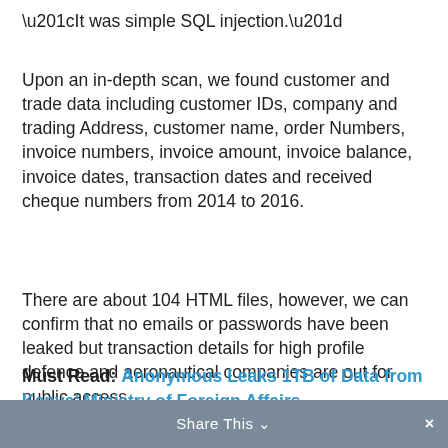“It was simple SQL injection.”
Upon an in-depth scan, we found customer and trade data including customer IDs, company and trading Address, customer name, order Numbers, invoice numbers, invoice amount, invoice balance, invoice dates, transaction dates and received cheque numbers from 2014 to 2016.
There are about 104 HTML files, however, we can confirm that no emails or passwords have been leaked but transaction details for high profile defence and aeronautical companies are out for public access.
[fullsquaread][/fullsquaread]
Must Read: Anonymous Leaks 1TB of Data from Kenya’ Ministry of Foreign Affairs
Share This